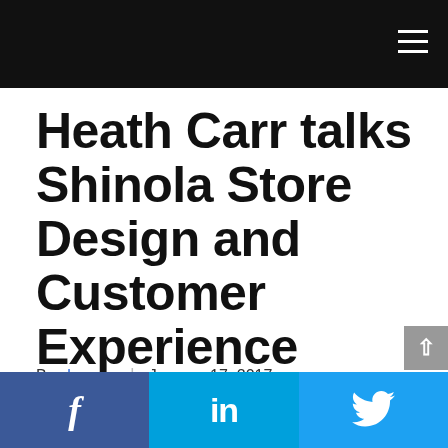Heath Carr talks Shinola Store Design and Customer Experience
By sberens | January 17, 2017
[Figure (photo): Two men on stage at a RetailSpaces event, with a dark backdrop showing 'RetailSpaces' in green script lettering, colorful panels in the background.]
Facebook | LinkedIn | Twitter social share buttons